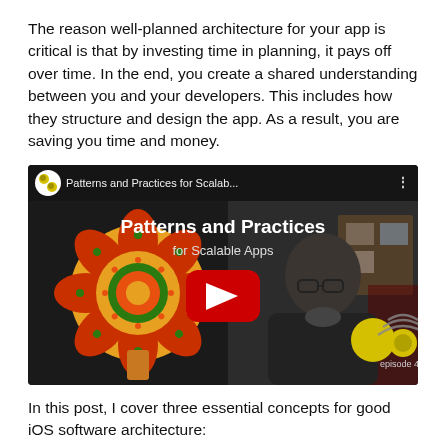The reason well-planned architecture for your app is critical is that by investing time in planning, it pays off over time. In the end, you create a shared understanding between you and your developers. This includes how they structure and design the app. As a result, you are saving you time and money.
[Figure (screenshot): YouTube video thumbnail for 'Patterns and Practices for Scalab...' showing a person wearing glasses in front of a corkboard, with a decorative mandala/flower graphic on the left and a podcast logo (episode 42) on the lower right. A red YouTube play button is centered on the video.]
In this post, I cover three essential concepts for good iOS software architecture:
Patterns & Practices